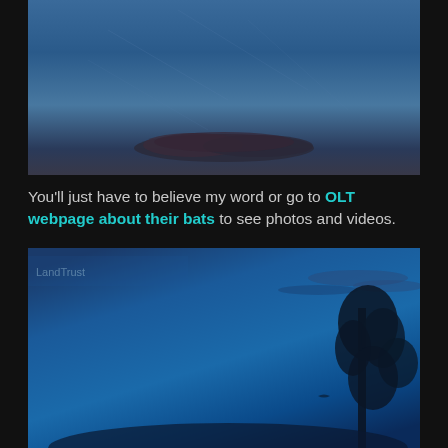[Figure (photo): Twilight blue sky with a dark cloud silhouette near the bottom center, faint scratch-like marks visible across the sky]
You'll just have to believe my word or go to OLT webpage about their bats to see photos and videos.
[Figure (photo): Deep blue twilight sky with wispy clouds and dark tree silhouette on the right side, bright blue gradient sky]